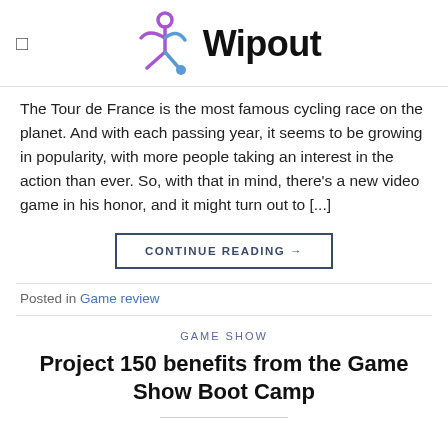Wipout
The Tour de France is the most famous cycling race on the planet. And with each passing year, it seems to be growing in popularity, with more people taking an interest in the action than ever. So, with that in mind, there’s a new video game in his honor, and it might turn out to […]
CONTINUE READING →
Posted in Game review
GAME SHOW
Project 150 benefits from the Game Show Boot Camp